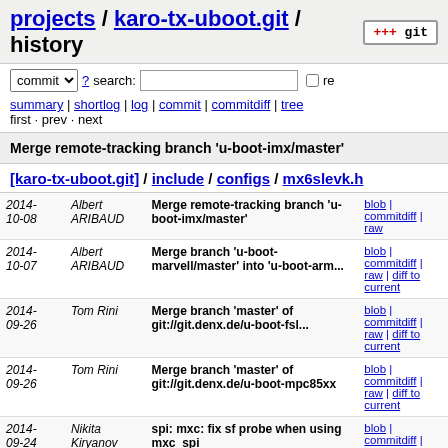projects / karo-tx-uboot.git / history
commit ? search: re
summary | shortlog | log | commit | commitdiff | tree
first · prev · next
Merge remote-tracking branch 'u-boot-imx/master'
[karo-tx-uboot.git] / include / configs / mx6slevk.h
| Date | Author | Commit message | Links |
| --- | --- | --- | --- |
| 2014-10-08 | Albert ARIBAUD | Merge remote-tracking branch 'u-boot-imx/master' | blob | commitdiff | raw |
| 2014-10-07 | Albert ARIBAUD | Merge branch 'u-boot-marvell/master' into 'u-boot-arm... | blob | commitdiff | raw | diff to current |
| 2014-09-26 | Tom Rini | Merge branch 'master' of git://git.denx.de/u-boot-fsl... | blob | commitdiff | raw | diff to current |
| 2014-09-26 | Tom Rini | Merge branch 'master' of git://git.denx.de/u-boot-mpc85xx | blob | commitdiff | raw | diff to current |
| 2014-09-24 | Nikita Kiryanov | spi: mxc: fix sf probe when using mxc_spi | blob | commitdiff | raw | diff to current |
| 2014-09-22 | Stefano Babic | Merge branch 'master' of git://git.denx.de/u-boot-arm | blob | commitdiff | raw | diff to current |
| 2014-... | Tom Rini | Merge branch 'master' of ... | blob |